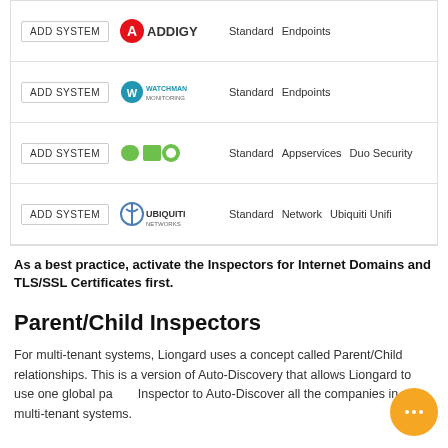|  | Logo | Standard | Category | Product |
| --- | --- | --- | --- | --- |
| ADD SYSTEM | Addigy | Standard | Endpoints |  |
| ADD SYSTEM | Watchman | Standard | Endpoints |  |
| ADD SYSTEM | Duo | Standard | Appservices | Duo Security |
| ADD SYSTEM | Ubiquiti | Standard | Network | Ubiquiti Unifi |
As a best practice, activate the Inspectors for Internet Domains and TLS/SSL Certificates first.
Parent/Child Inspectors
For multi-tenant systems, Liongard uses a concept called Parent/Child relationships. This is a version of Auto-Discovery that allows Liongard to use one global parent Inspector to Auto-Discover all the companies in your multi-tenant systems.